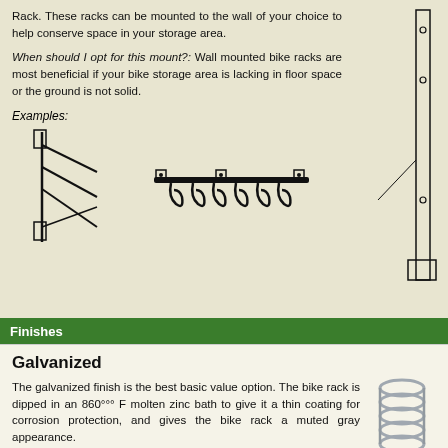Rack. These racks can be mounted to the wall of your choice to help conserve space in your storage area.
When should I opt for this mount?: Wall mounted bike racks are most beneficial if your bike storage area is lacking in floor space or the ground is not solid.
Examples:
[Figure (illustration): Two wall-mounted bike rack examples: a single arm bracket rack on the left and a multi-hook horizontal wall rack on the right]
[Figure (engineering-diagram): Technical side-view diagram of a wall-mounted bike rack bracket showing mounting points]
Finishes
Galvanized
The galvanized finish is the best basic value option. The bike rack is dipped in an 860°°° F molten zinc bath to give it a thin coating for corrosion protection, and gives the bike rack a muted gray appearance.
Some models available in this finish:
[Figure (photo): Photo of galvanized bike rack hardware showing muted gray zinc-coated finish]